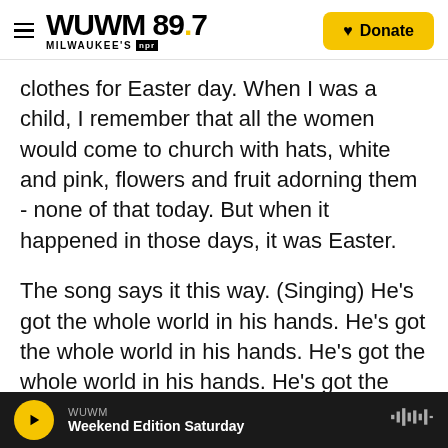WUWM 89.7 Milwaukee's NPR | Donate
clothes for Easter day. When I was a child, I remember that all the women would come to church with hats, white and pink, flowers and fruit adorning them - none of that today. But when it happened in those days, it was Easter.
The song says it this way. (Singing) He's got the whole world in his hands. He's got the whole world in his hands. He's got the whole world in his hands. He's got the whole world in his hands. He's got the whole world in his hands.
God love you. God bless you. May God hold us all in
WUWM | Weekend Edition Saturday